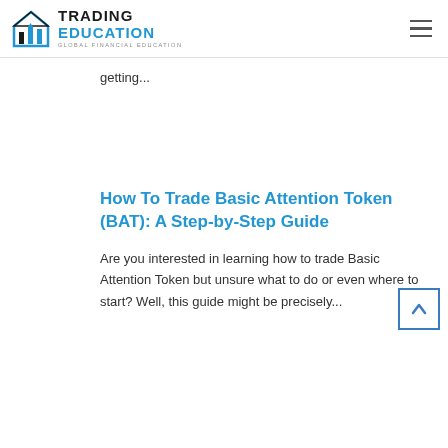TRADING EDUCATION — GLOBAL FINANCIAL EDUCATION
getting...
How To Trade Basic Attention Token (BAT): A Step-by-Step Guide
Are you interested in learning how to trade Basic Attention Token but unsure what to do or even where to start? Well, this guide might be precisely...